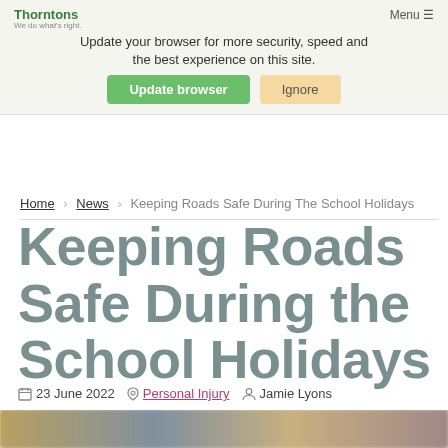Update your browser for more security, speed and the best experience on this site. [Update browser] [Ignore]
Home > News > Keeping Roads Safe During The School Holidays
Keeping Roads Safe During the School Holidays
23 June 2022  Personal Injury  Jamie Lyons
[Figure (photo): Blurred photo strip at bottom of page, showing outdoor scene with muted warm and cool tones]